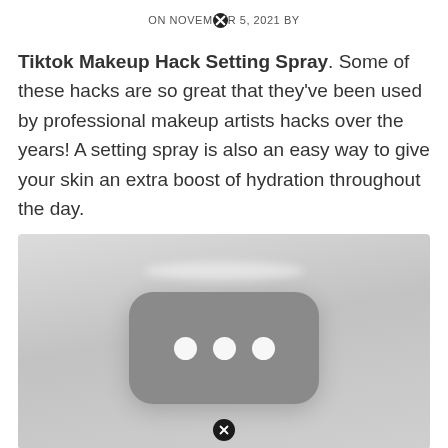ON NOVEMBER 5, 2021 BY
Tiktok Makeup Hack Setting Spray. Some of these hacks are so great that they've been used by professional makeup artists hacks over the years! A setting spray is also an easy way to give your skin an extra boost of hydration throughout the day.
[Figure (photo): Placeholder image with a rounded rectangle containing three white dots on a gray background]